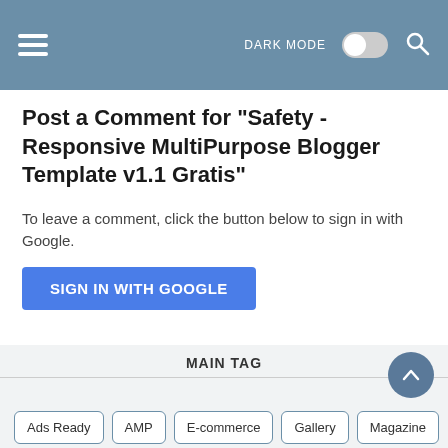DARK MODE [toggle] [search]
Post a Comment for "Safety - Responsive MultiPurpose Blogger Template v1.1 Gratis"
To leave a comment, click the button below to sign in with Google.
SIGN IN WITH GOOGLE
MAIN TAG
Ads Ready
AMP
E-commerce
Gallery
Magazine